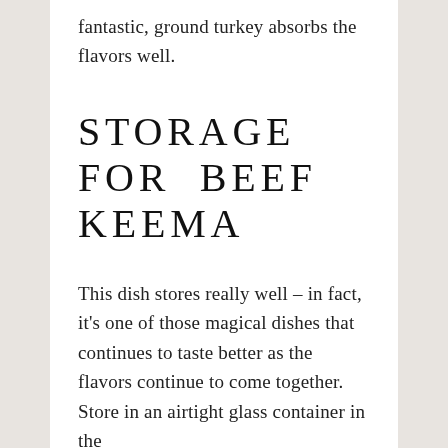fantastic, ground turkey absorbs the flavors well.
STORAGE FOR BEEF KEEMA
This dish stores really well – in fact, it's one of those magical dishes that continues to taste better as the flavors continue to come together.  Store in an airtight glass container in the